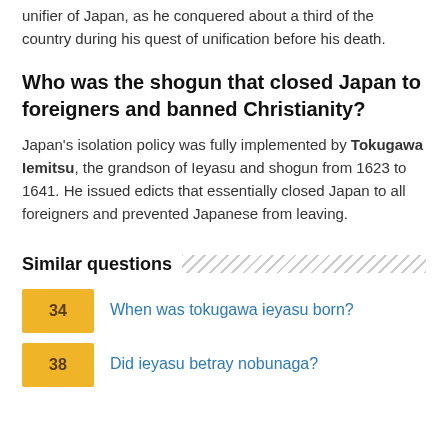unifier of Japan, as he conquered about a third of the country during his quest of unification before his death.
Who was the shogun that closed Japan to foreigners and banned Christianity?
Japan's isolation policy was fully implemented by Tokugawa Iemitsu, the grandson of Ieyasu and shogun from 1623 to 1641. He issued edicts that essentially closed Japan to all foreigners and prevented Japanese from leaving.
Similar questions
34 — When was tokugawa ieyasu born?
38 — Did ieyasu betray nobunaga?